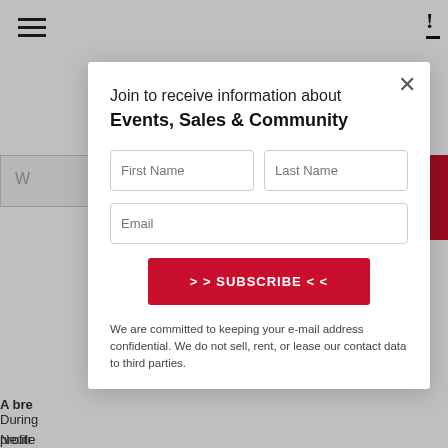[Figure (screenshot): Website background with hamburger menu icon, bookmark icon, search bar, red button, and partially visible article text about neutral density and other topics.]
Join to receive information about Events, Sales & Community
First Name
Last Name
Email
>> SUBSCRIBE <<
We are committed to keeping your e-mail address confidential. We do not sell, rent, or lease our contact data to third parties.